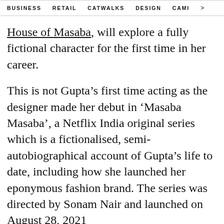BUSINESS   RETAIL   CATWALKS   DESIGN   CAMI >
House of Masaba, will explore a fully fictional character for the first time in her career.
This is not Gupta's first time acting as the designer made her debut in 'Masaba Masaba', a Netflix India original series which is a fictionalised, semi-autobiographical account of Gupta's life to date, including how she launched her eponymous fashion brand. The series was directed by Sonam Nair and launched on August 28, 2021
Gupta will also star in an upcoming second series of Masaba Masaba which is set to launch this summer, the designer had announced on International Women's Day.